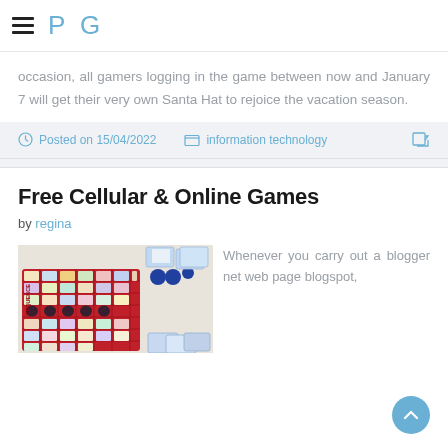P G
occasion, all gamers logging in the game between now and January 7 will get their very own Santa Hat to rejoice the vacation season.
Posted on 15/04/2022   information technology
Free Cellular & Online Games
by regina
[Figure (photo): Board game (likely Sequence) with cards and game pieces on a red board with illustrated squares]
Whenever you carry out a blogger net web page blogspot,